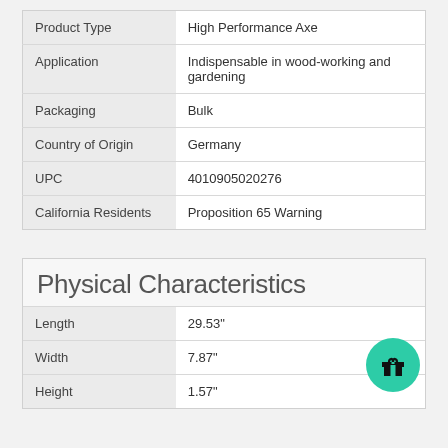| Attribute | Value |
| --- | --- |
| Product Type | High Performance Axe |
| Application | Indispensable in wood-working and gardening |
| Packaging | Bulk |
| Country of Origin | Germany |
| UPC | 4010905020276 |
| California Residents | Proposition 65 Warning |
Physical Characteristics
| Attribute | Value |
| --- | --- |
| Length | 29.53" |
| Width | 7.87" |
| Height | 1.57" |